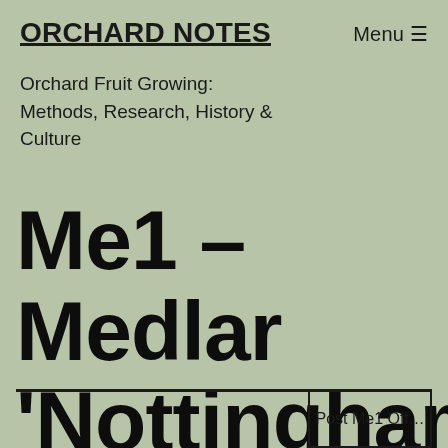ORCHARD NOTES
Orchard Fruit Growing: Methods, Research, History & Culture
Me1 – Medlar 'Nottingham'
Post Me1 Off...